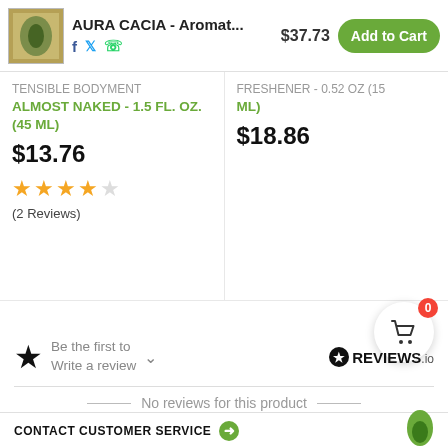AURA CACIA - Aromat... $37.73 Add to Cart
ALMOST NAKED - 1.5 FL. OZ. (45 ML)
$13.76
★★★★☆
(2 Reviews)
FRESHENER - 0.52 OZ (15 ML)
$18.86
[Figure (other): Floating cart icon with badge showing 0]
★ Be the first to Write a review
[Figure (logo): REVIEWS.io logo with star icon]
No reviews for this product
CONTACT CUSTOMER SERVICE →